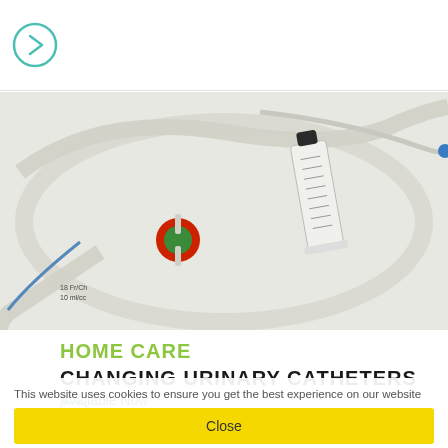[Figure (illustration): Teal/green circle with right-arrow chevron icon, partial view at top of page]
[Figure (photo): Close-up photograph of urinary catheter equipment including clear tubing, a syringe with black cap, and a red/green connector piece on a white surface. Label on tubing reads '18 Fr/Ch 10 ml/cc'.]
HOME CARE
CHANGING URINARY CATHETERS
Available Now
This website uses cookies to ensure you get the best experience on our website
Close
[Figure (illustration): Teal/green circle with right-arrow chevron icon, partial view at bottom of page]